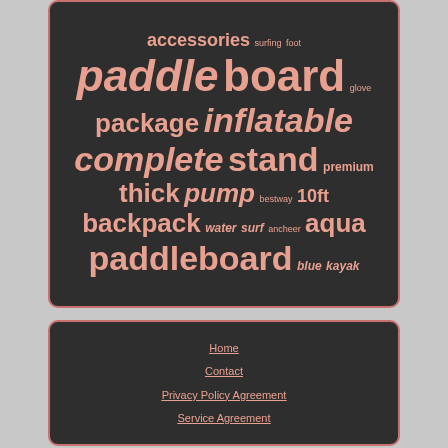[Figure (infographic): Word cloud on dark background with paddle sports related terms in salmon/pink color. Words of varying sizes: accessories, surfing, foot, paddle, board, glove, package, inflatable, complete, stand, premium, thick, pump, bestway, 10ft, backpack, water, surf, ancheer, aqua, paddleboard, blue, kayak]
Home
Contact
Privacy Policy Agreement
Service Agreement